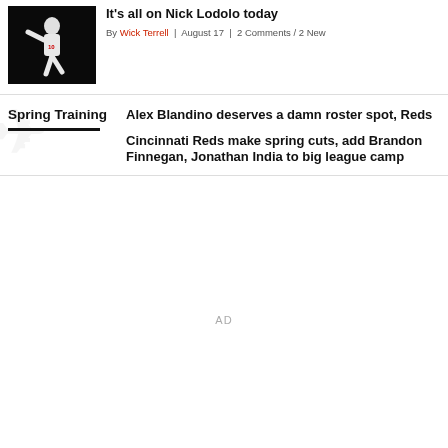[Figure (photo): Baseball pitcher in white uniform mid-throw against dark background]
It's all on Nick Lodolo today
By Wick Terrell | August 17 | 2 Comments / 2 New
Spring Training
Alex Blandino deserves a damn roster spot, Reds
Cincinnati Reds make spring cuts, add Brandon Finnegan, Jonathan India to big league camp
AD